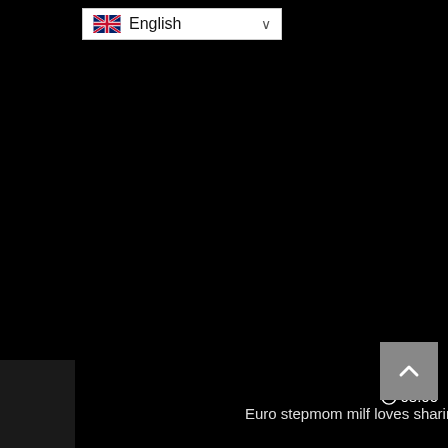[Figure (screenshot): Language selector dropdown showing UK flag and 'English' text with chevron, on a white background, positioned top-left on a black page. Below is a dark video thumbnail area on the left. A timer showing a clock icon and '08:00' appears on the right side. A video title text appears in the middle area. A grey scroll-to-top button with a caret/chevron-up icon sits in the bottom right.]